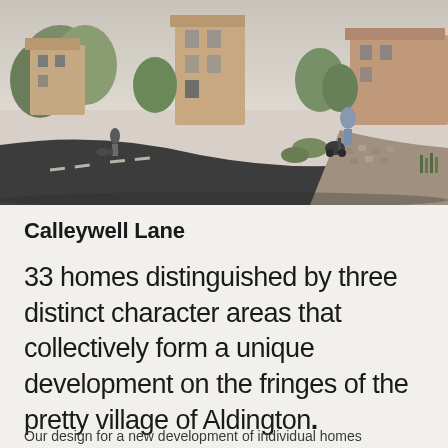[Figure (photo): Architectural rendering of Calleywell Lane housing development showing modern brick homes along a curved road with pedestrians walking dogs and pushing strollers, surrounded by trees and landscaping]
Calleywell Lane
33 homes distinguished by three distinct character areas that collectively form a unique development on the fringes of the pretty village of Aldington.
Our design for a new development of individual homes